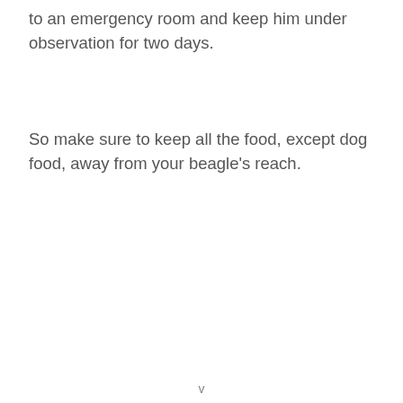to an emergency room and keep him under observation for two days.
So make sure to keep all the food, except dog food, away from your beagle's reach.
v